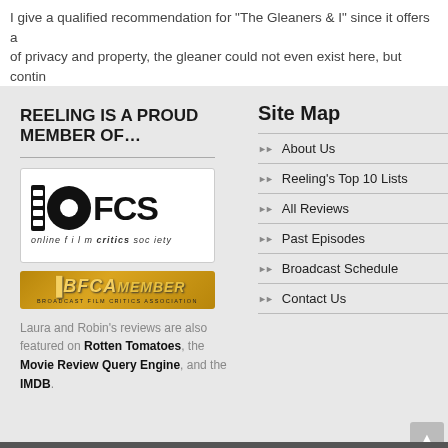I give a qualified recommendation for "The Gleaners & I" since it offers a of privacy and property, the gleaner could not even exist here, but contin
REELING IS A PROUD MEMBER OF…
[Figure (logo): OFCS Online Film Critics Society logo]
[Figure (logo): BFCA Member - Broadcast Film Critics Association logo]
Laura and Robin's reviews are also featured on Rotten Tomatoes, the Movie Review Query Engine, and the IMDB.
Site Map
About Us
Reeling's Top 10 Lists
All Reviews
Past Episodes
Broadcast Schedule
Contact Us